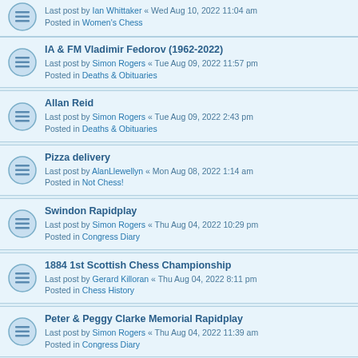Last post by Ian Whittaker « Wed Aug 10, 2022 11:04 am
Posted in Women's Chess
IA & FM Vladimir Fedorov (1962-2022)
Last post by Simon Rogers « Tue Aug 09, 2022 11:57 pm
Posted in Deaths & Obituaries
Allan Reid
Last post by Simon Rogers « Tue Aug 09, 2022 2:43 pm
Posted in Deaths & Obituaries
Pizza delivery
Last post by AlanLLewellyn « Mon Aug 08, 2022 1:14 am
Posted in Not Chess!
Swindon Rapidplay
Last post by Simon Rogers « Thu Aug 04, 2022 10:29 pm
Posted in Congress Diary
1884 1st Scottish Chess Championship
Last post by Gerard Killoran « Thu Aug 04, 2022 8:11 pm
Posted in Chess History
Peter & Peggy Clarke Memorial Rapidplay
Last post by Simon Rogers « Thu Aug 04, 2022 11:39 am
Posted in Congress Diary
From Ukraine with Love for Chess
Last post by John Upham « Thu Aug 04, 2022 10:02 am
Posted in Book Reviews
James Lovelock CH CBE FRS
Last post by John Clarke « Thu Jul 28, 2022 1:01 am
Posted in Not Chess!